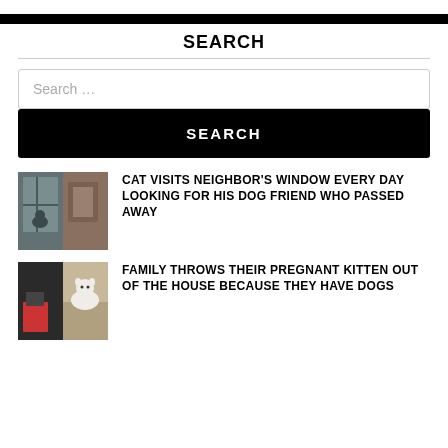SEARCH
Search …
SEARCH
[Figure (photo): Two-panel thumbnail: cat at a window/door on the left, interior scene on the right]
CAT VISITS NEIGHBOR'S WINDOW EVERY DAY LOOKING FOR HIS DOG FRIEND WHO PASSED AWAY
[Figure (photo): Two-panel thumbnail: dark image on the left, white cat in a container on the right]
FAMILY THROWS THEIR PREGNANT KITTEN OUT OF THE HOUSE BECAUSE THEY HAVE DOGS